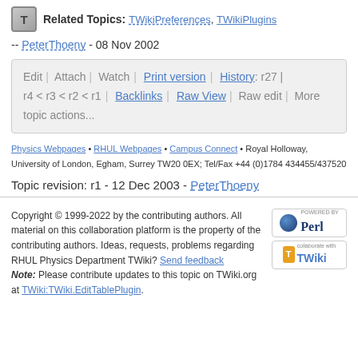Related Topics: TWikiPreferences, TWikiPlugins
-- PeterThoeny - 08 Nov 2002
Edit | Attach | Watch | Print version | History: r27 | r4 < r3 < r2 < r1 | Backlinks | Raw View | Raw edit | More topic actions...
Physics Webpages • RHUL Webpages • Campus Connect • Royal Holloway, University of London, Egham, Surrey TW20 0EX; Tel/Fax +44 (0)1784 434455/437520
Topic revision: r1 - 12 Dec 2003 - PeterThoeny
Copyright © 1999-2022 by the contributing authors. All material on this collaboration platform is the property of the contributing authors. Ideas, requests, problems regarding RHUL Physics Department TWiki? Send feedback
Note: Please contribute updates to this topic on TWiki.org at TWiki:TWiki.EditTablePlugin.